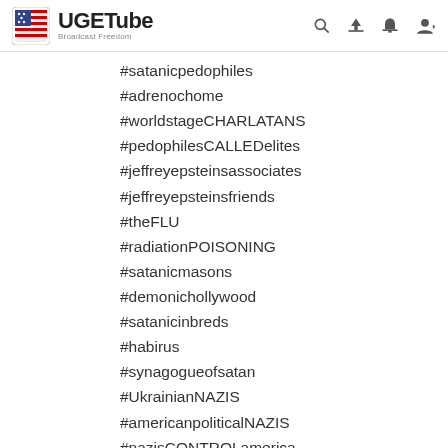UGETube — Broadcast Freedom
#satanicpedophiles
#adrenochome
#worldstageCHARLATANS
#pedophilesCALLEDelites
#jeffreyepsteinsassociates
#jeffreyepsteinsfriends
#theFLU
#radiationPOISONING
#satanicmasons
#demonichollywood
#satanicinbreds
#habirus
#synagogueofsatan
#UkrainianNAZIS
#americanpoliticalNAZIS
#nazisCONTROLamerica
#Russia
#Ukraine